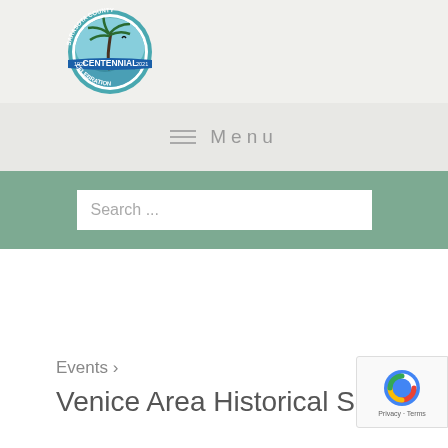[Figure (logo): Sarasota County Centennial Celebration circular logo with palm tree silhouette, teal and blue colors, years 1921-2021]
≡  Menu
Search ...
Events ›
Venice Area Historical Society